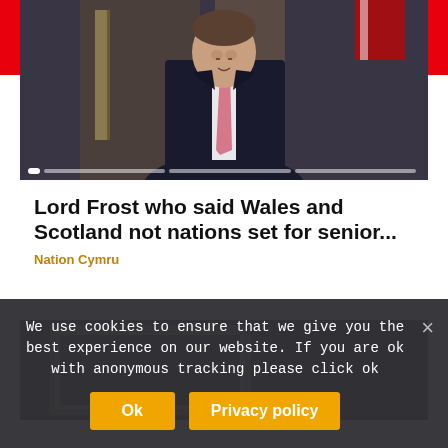[Figure (photo): Man in dark suit with pink tie standing in front of a door, slideshow carousel with dots indicator]
Lord Frost who said Wales and Scotland not nations set for senior...
Nation Cymru
[Figure (photo): Second article image, dark interior scene partially visible]
We use cookies to ensure that we give you the best experience on our website. If you are ok with anonymous tracking please click ok
Ok | Privacy policy